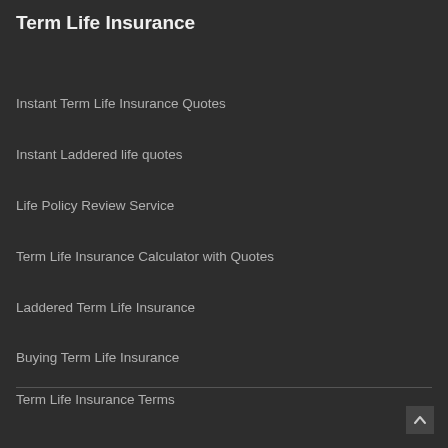Term Life Insurance
Instant Term Life Insurance Quotes
Instant Laddered life quotes
Life Policy Review Service
Term Life Insurance Calculator with Quotes
Laddered Term Life Insurance
Buying Term Life Insurance
Term Life Insurance Terms
Book an appointment